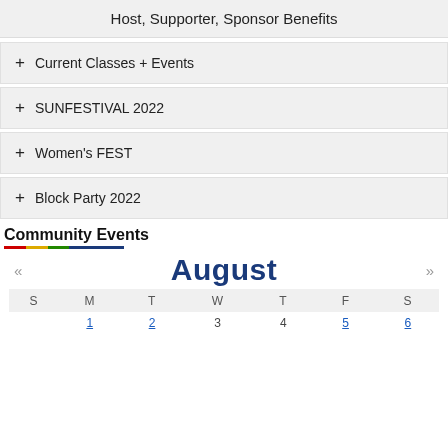Host, Supporter, Sponsor Benefits
+ Current Classes + Events
+ SUNFESTIVAL 2022
+ Women's FEST
+ Block Party 2022
Community Events
[Figure (other): Rainbow decorative horizontal line under Community Events heading]
August — calendar navigation with « and » arrows
| S | M | T | W | T | F | S |
| --- | --- | --- | --- | --- | --- | --- |
|  | 1 | 2 | 3 | 4 | 5 | 6 |